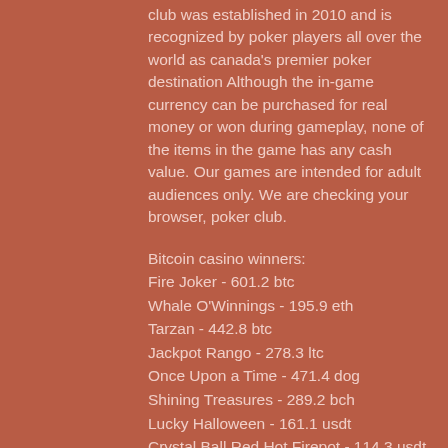club was established in 2010 and is recognized by poker players all over the world as canada's premier poker destination Although the in-game currency can be purchased for real money or won during gameplay, none of the items in the game has any cash value. Our games are intended for adult audiences only. We are checking your browser, poker club.
Bitcoin casino winners: Fire Joker - 601.2 btc Whale O'Winnings - 195.9 eth Tarzan - 442.8 btc Jackpot Rango - 278.3 ltc Once Upon a Time - 471.4 dog Shining Treasures - 289.2 bch Lucky Halloween - 161.1 usdt Crystal Ball Red Hot Firepot - 114.3 usdt Hula Girl - 121.2 bch Kamchatka - 455.2 dog Jekyll and Hyde - 457.8 ltc